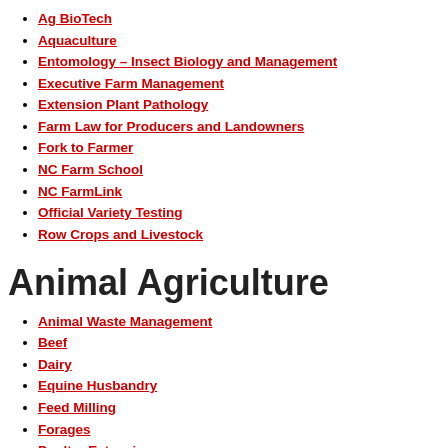Ag BioTech
Aquaculture
Entomology – Insect Biology and Management
Executive Farm Management
Extension Plant Pathology
Farm Law for Producers and Landowners
Fork to Farmer
NC Farm School
NC FarmLink
Official Variety Testing
Row Crops and Livestock
Animal Agriculture
Animal Waste Management
Beef
Dairy
Equine Husbandry
Feed Milling
Forages
Poultry Extension
Small Ruminants